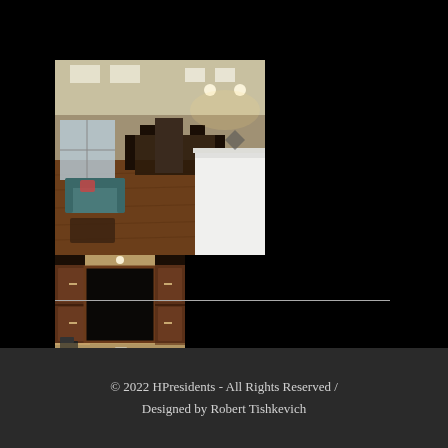[Figure (photo): Two interior home photos side by side: left photo shows a living/dining room with hardwood floors, a teal sofa, dining table and chairs, and a white kitchen island under warm lighting; right photo shows a kitchen with dark wood cabinets, white countertops, a sink under a window, and under-cabinet lighting.]
© 2022 HPresidents - All Rights Reserved / Designed by Robert Tishkevich